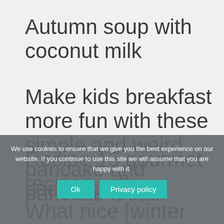Autumn soup with coconut milk
Make kids breakfast more fun with these simple and weird pancake and pancake ideas
Recipe 15 gourmet recipes with
cod to cook
What nice [winter soup] to
We use cookies to ensure that we give you the best experience on our website. If you continue to use this site we will assume that you are happy with it.